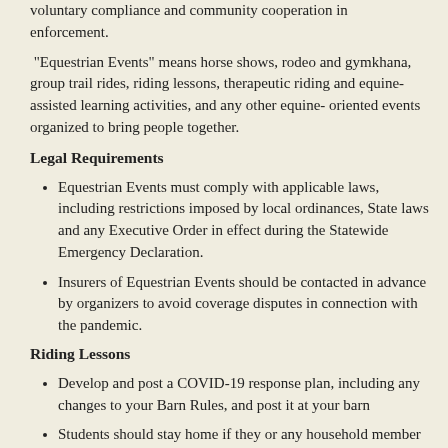voluntary compliance and community cooperation in enforcement.
"Equestrian Events" means horse shows, rodeo and gymkhana, group trail rides, riding lessons, therapeutic riding and equine-assisted learning activities, and any other equine- oriented events organized to bring people together.
Legal Requirements
Equestrian Events must comply with applicable laws, including restrictions imposed by local ordinances, State laws and any Executive Order in effect during the Statewide Emergency Declaration.
Insurers of Equestrian Events should be contacted in advance by organizers to avoid coverage disputes in connection with the pandemic.
Riding Lessons
Develop and post a COVID-19 response plan, including any changes to your Barn Rules, and post it at your barn
Students should stay home if they or any household member is ill or knows they've been exposed to someone infected with COVID-19